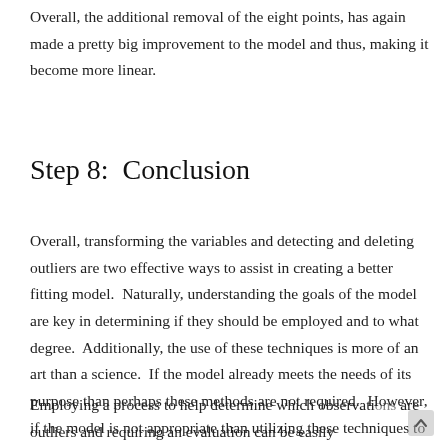Overall, the additional removal of the eight points, has again made a pretty big improvement to the model and thus, making it become more linear.
Step 8:  Conclusion
Overall, transforming the variables and detecting and deleting outliers are two effective ways to assist in creating a better fitting model.  Naturally, understanding the goals of the model are key in determining if they should be employed and to what degree.  Additionally, the use of these techniques is more of an art than a science.  If the model already meets the needs of its purpose than perhaps these methods are not required.  However, if the model is not appropriate than utilizing these techniques to transform the model to become more linear is appropriate.
Employing a process to help determine which observations are outliers and requiring an evaluation can be easily